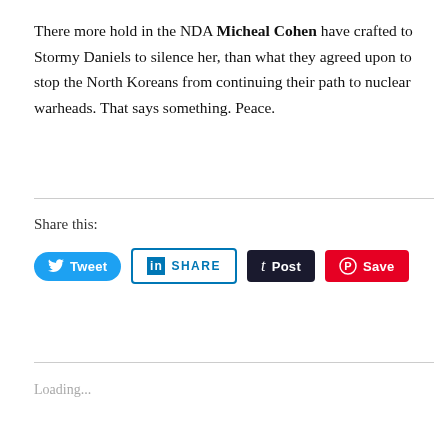There more hold in the NDA Micheal Cohen have crafted to Stormy Daniels to silence her, than what they agreed upon to stop the North Koreans from continuing their path to nuclear warheads. That says something. Peace.
Share this:
[Figure (other): Social sharing buttons: Tweet (Twitter/blue), SHARE (LinkedIn/blue outline), Post (Tumblr/dark navy), Save (Pinterest/red)]
Loading...